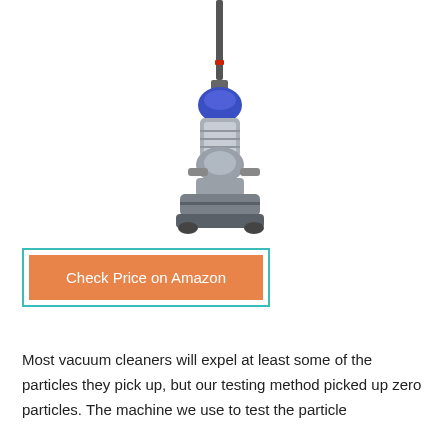[Figure (photo): Dyson upright vacuum cleaner with blue and silver design, shown on a white background]
Check Price on Amazon
Most vacuum cleaners will expel at least some of the particles they pick up, but our testing method picked up zero particles. The machine we use to test the particle